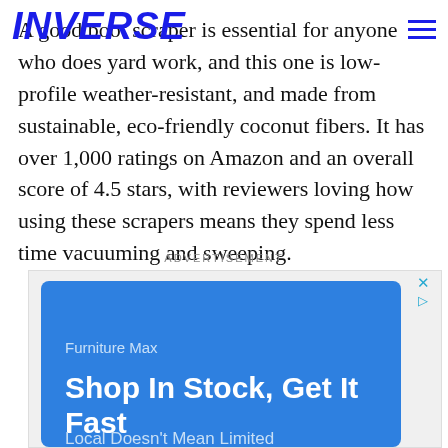INVERSE
A good boot scraper is essential for anyone who does yard work, and this one is low-profile weather-resistant, and made from sustainable, eco-friendly coconut fibers. It has over 1,000 ratings on Amazon and an overall score of 4.5 stars, with reviewers loving how using these scrapers means they spend less time vacuuming and sweeping.
ADVERTISEMENT
[Figure (other): Advertisement banner for Furniture Max with blue background, headline 'Shop In Stock, Get It Fast', subheadline 'Local Doesn't Mean Limited']